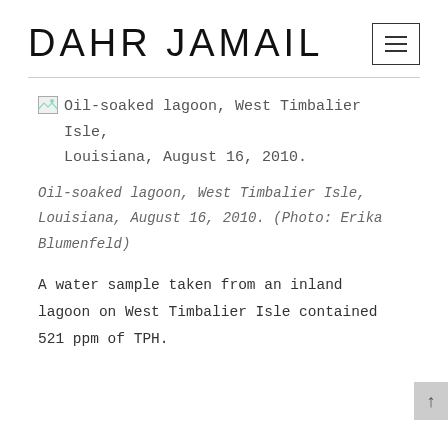DAHR JAMAIL
[Figure (photo): Broken/missing image placeholder for oil-soaked lagoon photo with alt text: Oil-soaked lagoon, West Timbalier Isle, Louisiana, August 16, 2010.]
Oil-soaked lagoon, West Timbalier Isle, Louisiana, August 16, 2010. (Photo: Erika Blumenfeld)
A water sample taken from an inland lagoon on West Timbalier Isle contained 521 ppm of TPH.